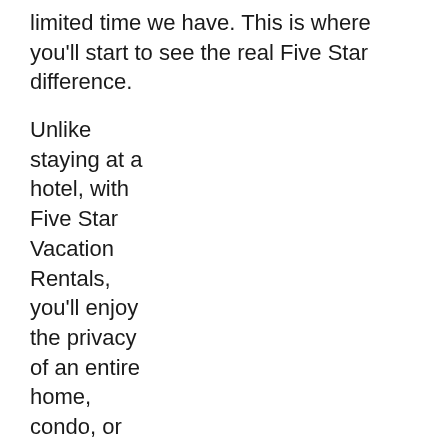limited time we have. This is where you'll start to see the real Five Star difference.
Unlike staying at a hotel, with Five Star Vacation Rentals, you'll enjoy the privacy of an entire home, condo, or estate dedicated solely for the use of your family. This means that when your kids step outside their bedroom, they'll be standing just down the hall from you. At a hotel if your kids step outside the room, they're usually in a public area that can have quite a bit of foot traffic by strangers. That also can bring unwanted noise at odd hours to